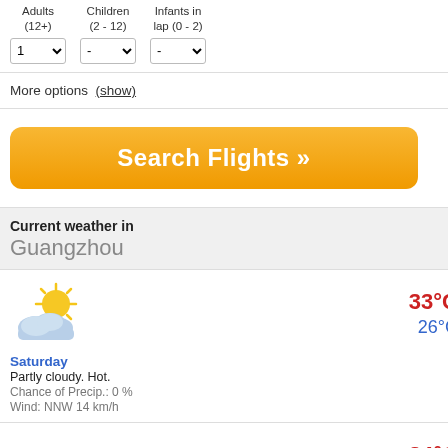Adults (12+)  Children (2 - 12)  Infants in lap (0 - 2)  1 ▾  - ▾  - ▾
More options (show)
[Figure (screenshot): Orange 'Search Flights »' button]
Current weather in Guangzhou
[Figure (infographic): Partly cloudy weather icon]
33°C
26°C
Saturday
Partly cloudy. Hot.
Chance of Precip.: 0 %
Wind: NNW 14 km/h
[Figure (infographic): Cloudy weather icon]
34°C
26°C
Sunday
Cloudy. Hot.
Chance of Precip.: 0 %
Wind: NNW 15 km/h
From Our Guangzhou Flights Gu
Short-term and long-term parking lots are availabl